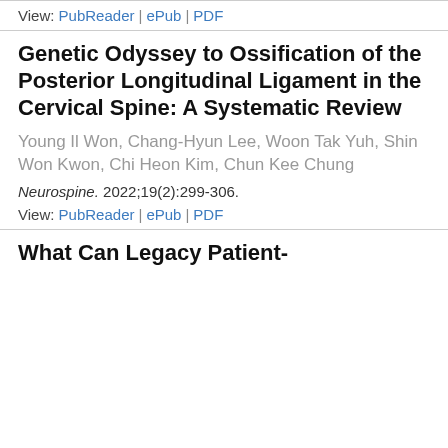View: PubReader | ePub | PDF
Genetic Odyssey to Ossification of the Posterior Longitudinal Ligament in the Cervical Spine: A Systematic Review
Young Il Won, Chang-Hyun Lee, Woon Tak Yuh, Shin Won Kwon, Chi Heon Kim, Chun Kee Chung
Neurospine. 2022;19(2):299-306.
View: PubReader | ePub | PDF
What Can Legacy Patient-